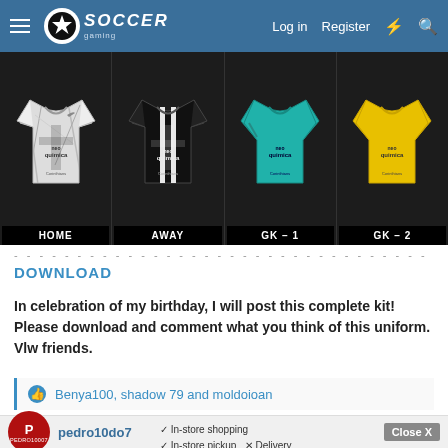Soccer Gaming — Log in  Register
[Figure (screenshot): Four Corinthians football kit jerseys displayed in a locker room setting: HOME (white), AWAY (black), GK-1 (teal/blue), GK-2 (yellow), each with neo quimica sponsor and Corinthians branding]
DOWNLOAD
In celebration of my birthday, I will post this complete kit! Please download and comment what you think of this uniform. Vlw friends.
Benya100, shadow 79 and moldoioan
pedro10do7
[Figure (infographic): Advertisement: Home Sense — In-store shopping, In-store pickup, no Delivery]